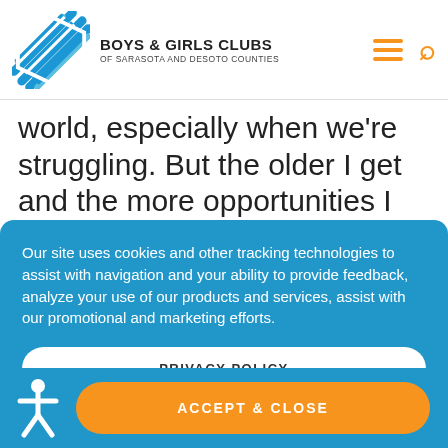[Figure (logo): Boys & Girls Clubs of Sarasota and DeSoto Counties logo with blue diagonal stripe shield and organization name]
world, especially when we're struggling. But the older I get and the more opportunities I [...]
Our site uses cookies and other tracking technologies to assist with navigation and your ability to provide feedback, analyze your use of our products and services, assist with our promotional and marketing efforts.
PRIVACY POLICY
ACCEPT & CLOSE